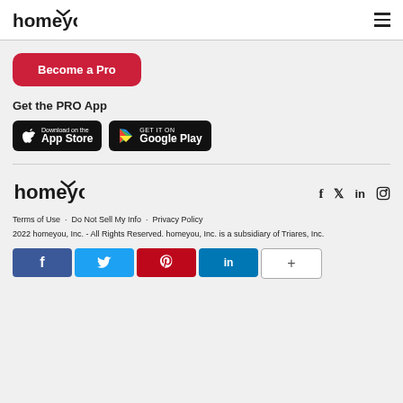homeyou
Become a Pro
Get the PRO App
[Figure (logo): Download on the App Store badge]
[Figure (logo): Get it on Google Play badge]
[Figure (logo): homeyou logo footer]
Terms of Use · Do Not Sell My Info · Privacy Policy
2022 homeyou, Inc. - All Rights Reserved. homeyou, Inc. is a subsidiary of Triares, Inc.